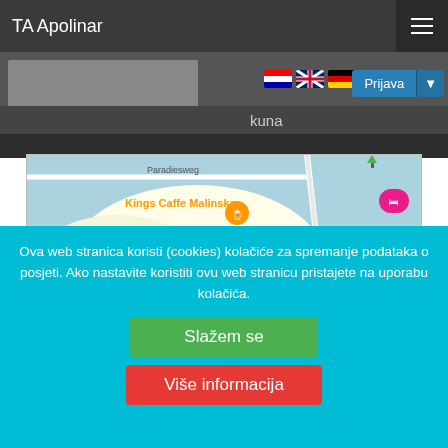TA Apolinar
kuna
[Figure (map): Google Maps view of Malinska area showing Kings Caffe Malinska, Restoran Noštromo Malinska, Trgovina Krk dd Supermarket, Rupa Beach, Konoba Bracer, and road labels including Dubašljanska cesta and Paradiesweg]
Ova web stranica koristi (cookies) kolačiće za spremanje podataka o posjeti. Ako nastavite koristiti ovu web stranicu pristajete na uporabu kolačića.
Slažem se
Više informacija